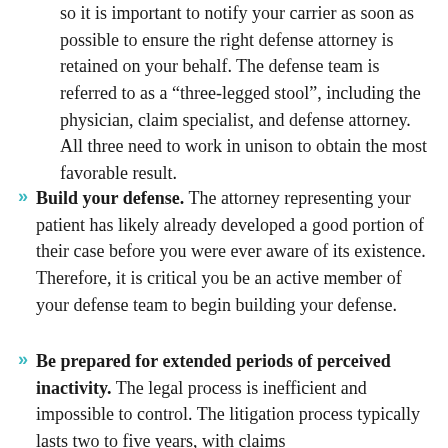so it is important to notify your carrier as soon as possible to ensure the right defense attorney is retained on your behalf. The defense team is referred to as a “three-legged stool”, including the physician, claim specialist, and defense attorney. All three need to work in unison to obtain the most favorable result.
Build your defense. The attorney representing your patient has likely already developed a good portion of their case before you were ever aware of its existence. Therefore, it is critical you be an active member of your defense team to begin building your defense.
Be prepared for extended periods of perceived inactivity. The legal process is inefficient and impossible to control. The litigation process typically lasts two to five years, with claims